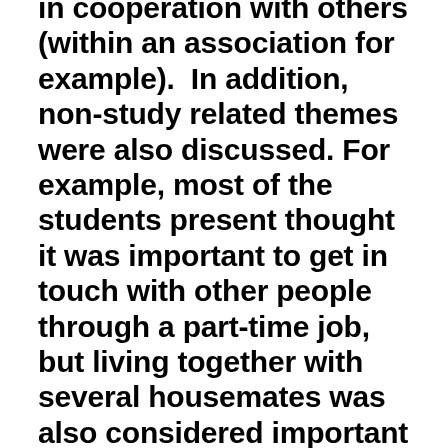in cooperation with others (within an association for example).  In addition, non-study related themes were also discussed. For example, most of the students present thought it was important to get in touch with other people through a part-time job, but living together with several housemates was also considered important for character development. Finally, the students thought that not only the cooperation and interaction with others outside your study programme was important, but also a critical, curious and (pro)active attitude within your study programme.